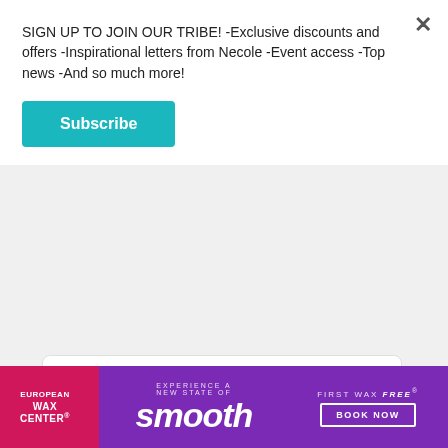SIGN UP TO JOIN OUR TRIBE! -Exclusive discounts and offers -Inspirational letters from Necole -Event access -Top news -And so much more!
[Figure (screenshot): Subscribe button in teal/turquoise color]
[Figure (screenshot): Social media embed card with placeholder lines and 'A post s' link text in teal]
Kardea Brown
[Figure (screenshot): Partial social media embed card at bottom]
[Figure (screenshot): European Wax Center advertisement banner: 'Experience a New State of smooth - First Wax free - Book Now']